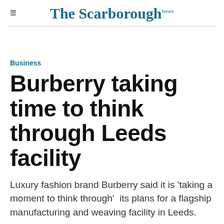The Scarborough News
Business
Burberry taking time to think through Leeds facility
Luxury fashion brand Burberry said it is 'taking a moment to think through' its plans for a flagship manufacturing and weaving facility in Leeds.